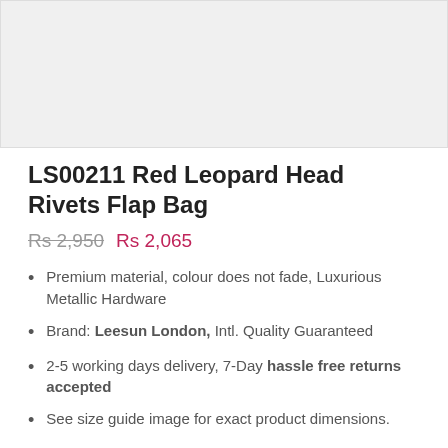[Figure (photo): Product image placeholder (grey box)]
LS00211 Red Leopard Head Rivets Flap Bag
Rs 2,950  Rs 2,065
Premium material, colour does not fade, Luxurious Metallic Hardware
Brand: Leesun London, Intl. Quality Guaranteed
2-5 working days delivery, 7-Day hassle free returns accepted
See size guide image for exact product dimensions.
Designed in & Imported from UK, read global reviews here